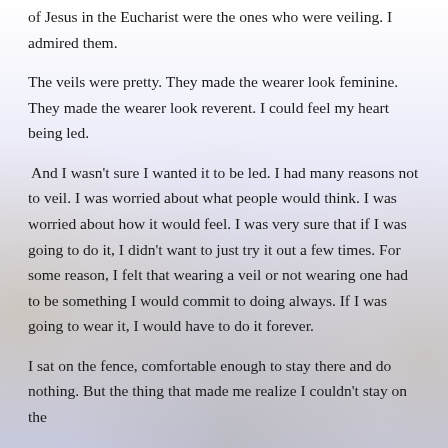of Jesus in the Eucharist were the ones who were veiling. I admired them.
The veils were pretty. They made the wearer look feminine. They made the wearer look reverent. I could feel my heart being led.
And I wasn’t sure I wanted it to be led. I had many reasons not to veil. I was worried about what people would think. I was worried about how it would feel. I was very sure that if I was going to do it, I didn’t want to just try it out a few times. For some reason, I felt that wearing a veil or not wearing one had to be something I would commit to doing always. If I was going to wear it, I would have to do it forever.
I sat on the fence, comfortable enough to stay there and do nothing. But the thing that made me realize I couldn’t stay on the